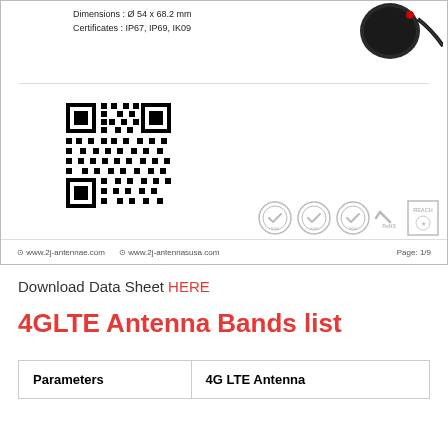[Figure (illustration): Document page showing antenna product specs, QR code, certification logos (SGS x3, RoHS, REACH), and page footer with website URLs and page number 1/9]
Download Data Sheet HERE
4GLTE Antenna Bands list
| Parameters | 4G LTE Antenna |
| --- | --- |